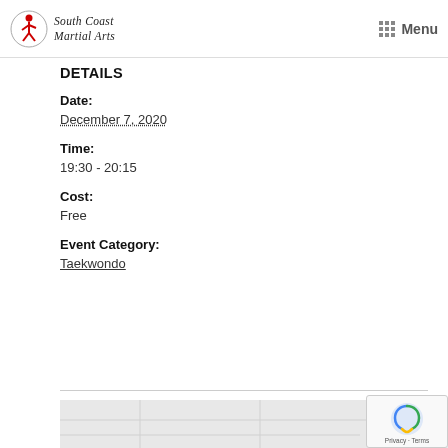South Coast Martial Arts | Menu
DETAILS
Date:
December 7, 2020
Time:
19:30 - 20:15
Cost:
Free
Event Category:
Taekwondo
[Figure (map): Embedded Google map showing location, partially visible at bottom of page]